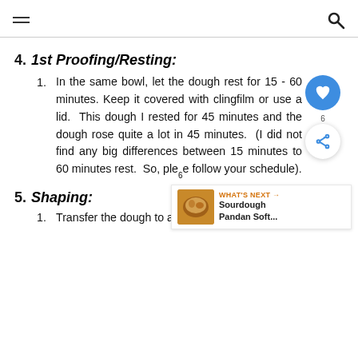≡  🔍
4. 1st Proofing/Resting:
1. In the same bowl, let the dough rest for 15 - 60 minutes. Keep it covered with clingfilm or use a lid. This dough I rested for 45 minutes and the dough rose quite a lot in 45 minutes. (I did not find any big differences between 15 minutes to 60 minutes rest. So, please follow your schedule).
5. Shaping:
1. Transfer the dough to a clean floured